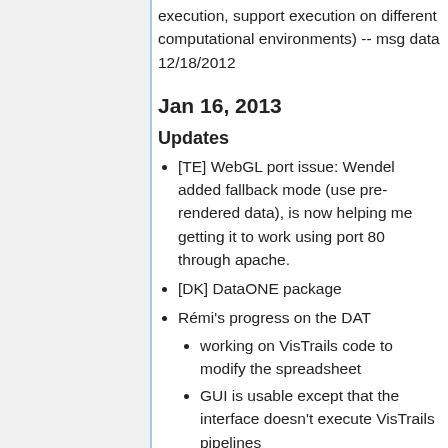execution, support execution on different computational environments) -- msg data 12/18/2012
Jan 16, 2013
Updates
[TE] WebGL port issue: Wendel added fallback mode (use pre-rendered data), is now helping me getting it to work using port 80 through apache.
[DK] DataONE package
Rémi's progress on the DAT
working on VisTrails code to modify the spreadsheet
GUI is usable except that the interface doesn't execute VisTrails pipelines